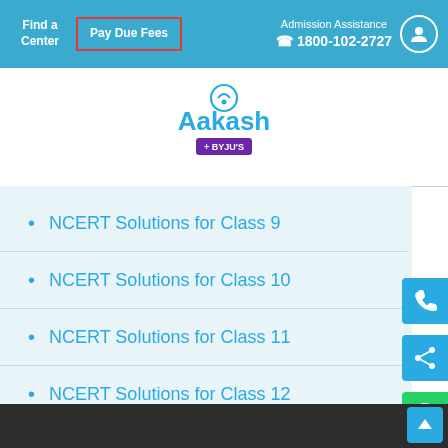Find a Center | Pay Due Fees | Admission Assistance 1800-102-2727
[Figure (logo): Aakash + BYJU'S logo with circular emblem on top]
NCERT Solutions for Class 9
NCERT Solutions for Class 10
NCERT Solutions for Class 11
NCERT Solutions for Class 12